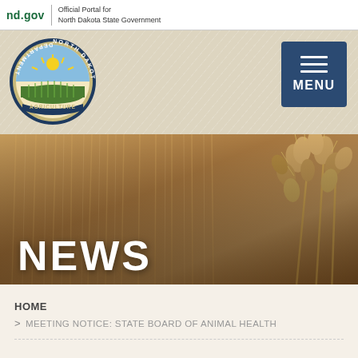nd.gov | Official Portal for North Dakota State Government
[Figure (logo): North Dakota Department of Agriculture circular seal with sunburst and wheat field imagery]
[Figure (photo): Close-up photo of wheat grain heads in golden/amber tones with the word NEWS overlaid in white bold text]
HOME
> MEETING NOTICE: STATE BOARD OF ANIMAL HEALTH